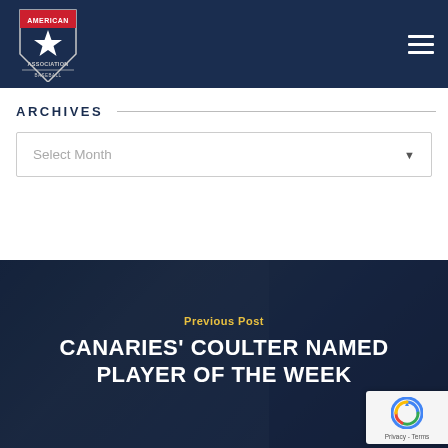American Association (logo) — navigation header
ARCHIVES
Select Month
[Figure (photo): Baseball player in yellow uniform running, dark blue overlay background with Previous Post navigation]
Previous Post
CANARIES' COULTER NAMED PLAYER OF THE WEEK